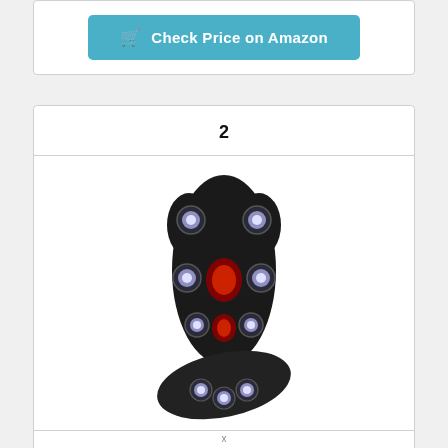[Figure (other): Blue 'Check Price on Amazon' button with shopping cart icon]
2
[Figure (photo): Black seat massager / vibrating back massage chair pad with multiple massage nodes and heat elements visible]
Seat Massager, Sotion Vibrating Back Massager for
x